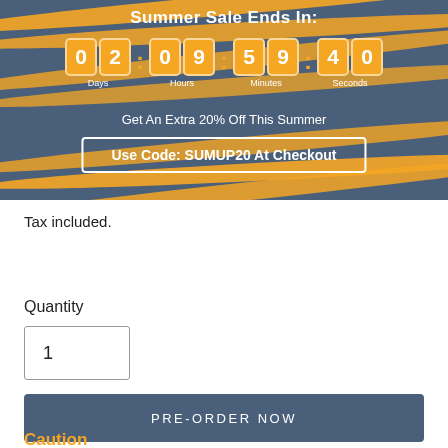[Figure (infographic): Summer sale countdown banner with wavy orange stripes on dark blue background, showing countdown timer 02:09:59:40 (Days/Hours/Minutes/Seconds), text 'Get An Extra 20% Off This Summer', and a code box 'Use Code: SUMUP20 At Checkout']
Tax included.
Quantity
1
PRE-ORDER NOW
Caution